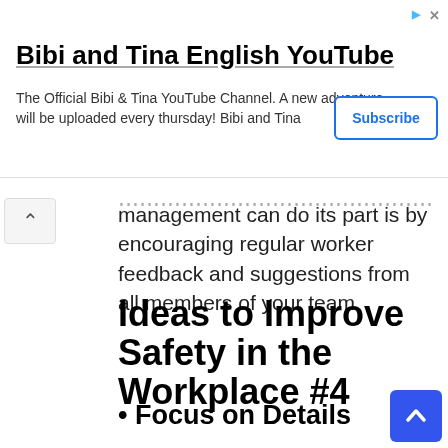[Figure (screenshot): Ad banner for Bibi and Tina English YouTube channel with Subscribe button]
management can do its part is by encouraging regular worker feedback and suggestions from all members of your team.
Ideas to Improve Safety in the Workplace #4
Focus on Details